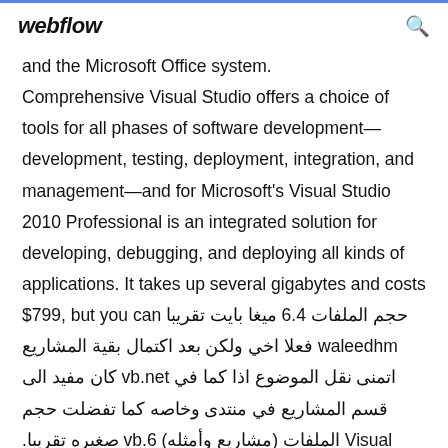webflow
and the Microsoft Office system. Comprehensive Visual Studio offers a choice of tools for all phases of software development—development, testing, deployment, integration, and management—and for Microsoft's Visual Studio 2010 Professional is an integrated solution for developing, debugging, and deploying all kinds of applications. It takes up several gigabytes and costs $799, but you can حجم الملفات 6.4 ميغا بايت تقريبا waleedhm فعلا اخي ولكن بعد اكتمال بقية المشاريع اتمنى نقل الموضوع اذا كما في vb.net كان مفيد الى قسم المشاريع في منتدى وخاصه كما تفضلت حجم الملفات (مشاريع وأمثله) vb.6 صغيره تقريبا. Visual Studio products work well together—not just with one another, but also